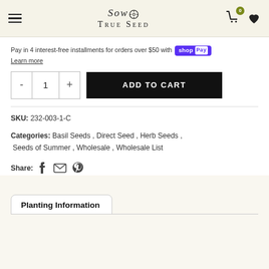Sow True Seed — navigation header with menu, logo, cart (0), and wishlist icons
Pay in 4 interest-free installments for orders over $50 with shop Pay
Learn more
- 1 + ADD TO CART
SKU: 232-003-1-C
Categories: Basil Seeds , Direct Seed , Herb Seeds , Seeds of Summer , Wholesale , Wholesale List
Share: (Facebook) (Email) (Pinterest)
Planting Information